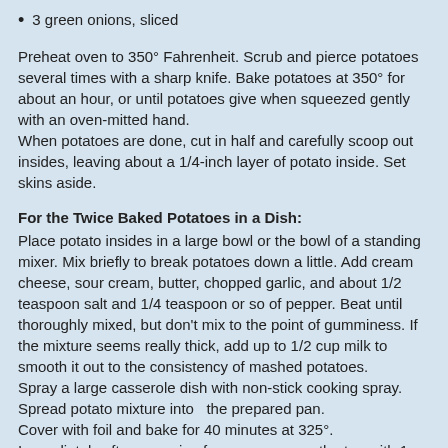3 green onions, sliced
Preheat oven to 350° Fahrenheit. Scrub and pierce potatoes several times with a sharp knife. Bake potatoes at 350° for about an hour, or until potatoes give when squeezed gently with an oven-mitted hand.
When potatoes are done, cut in half and carefully scoop out insides, leaving about a 1/4-inch layer of potato inside. Set skins aside.
For the Twice Baked Potatoes in a Dish:
Place potato insides in a large bowl or the bowl of a standing mixer. Mix briefly to break potatoes down a little. Add cream cheese, sour cream, butter, chopped garlic, and about 1/2 teaspoon salt and 1/4 teaspoon or so of pepper. Beat until thoroughly mixed, but don't mix to the point of gumminess. If the mixture seems really thick, add up to 1/2 cup milk to smooth it out to the consistency of mashed potatoes.
Spray a large casserole dish with non-stick cooking spray.
Spread potato mixture into  the prepared pan.
Cover with foil and bake for 40 minutes at 325°.
Immediately after removing from oven, cover the top with 1